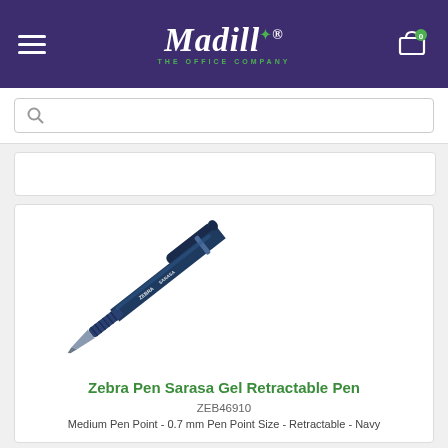[Figure (logo): Madill The Office Company logo — white italic script text with green star, subtitle 'THE OFFICE COMPANY' in green, on dark purple header background]
ZEB46910
Zebra Pen Sarasa Gel Retractable Pen
ZEB46910
Medium Pen Point - 0.7 mm Pen Point Size - Retractable - Navy